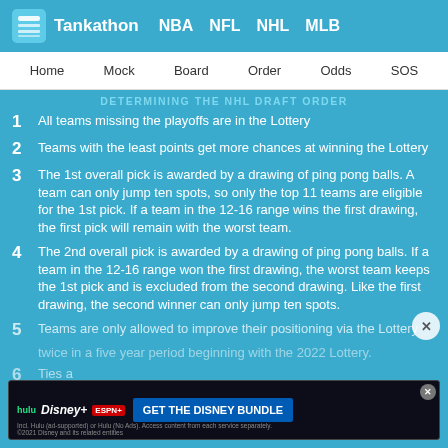Tankathon  NBA  NFL  NHL  MLB
Home  Mock  Board  Order  Odds  SOS
DETERMINING THE NHL DRAFT ORDER
All teams missing the playoffs are in the Lottery
Teams with the least points get more chances at winning the Lottery
The 1st overall pick is awarded by a drawing of ping pong balls. A team can only jump ten spots, so only the top 11 teams are eligible for the 1st pick. If a team in the 12-16 range wins the first drawing, the first pick will remain with the worst team.
The 2nd overall pick is awarded by a drawing of ping pong balls. If a team in the 12-16 range won the first drawing, the worst team keeps the 1st pick and is excluded from the second drawing. Like the first drawing, the second winner can only jump ten spots.
Teams are only allowed to improve their positioning via the Lottery twice in a five year period beginning with the 2022 Lottery.
Ties are broken by the following criteria in order: ROW, regulation wins, head-to-head record. If teams are still tied, they're head-to-head is flipped.
[Figure (screenshot): Advertisement banner for Disney Bundle featuring Hulu, Disney+, and ESPN+ logos with 'GET THE DISNEY BUNDLE' call to action button]